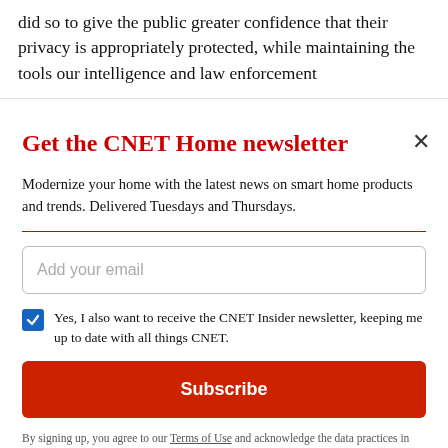did so to give the public greater confidence that their privacy is appropriately protected, while maintaining the tools our intelligence and law enforcement
Get the CNET Home newsletter
Modernize your home with the latest news on smart home products and trends. Delivered Tuesdays and Thursdays.
Add your email
Yes, I also want to receive the CNET Insider newsletter, keeping me up to date with all things CNET.
Subscribe
By signing up, you agree to our Terms of Use and acknowledge the data practices in our Privacy Policy. You may unsubscribe at any time.